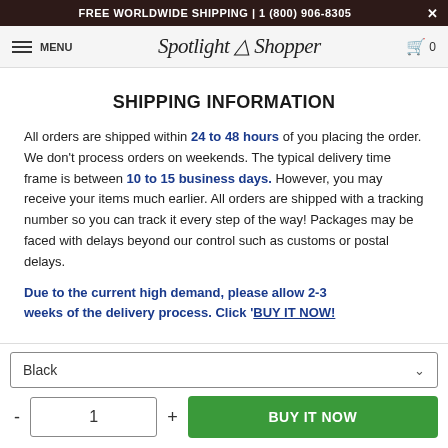FREE WORLDWIDE SHIPPING | 1 (800) 906-8305
≡ MENU  Spotlight Shopper  🛒 0
SHIPPING INFORMATION
All orders are shipped within 24 to 48 hours of you placing the order. We don't process orders on weekends. The typical delivery time frame is between 10 to 15 business days. However, you may receive your items much earlier. All orders are shipped with a tracking number so you can track it every step of the way! Packages may be faced with delays beyond our control such as customs or postal delays.
Due to the current high demand, please allow 2-3 weeks of the delivery process. Click 'BUY IT NOW!
Black [dropdown]
- 1 + BUY IT NOW